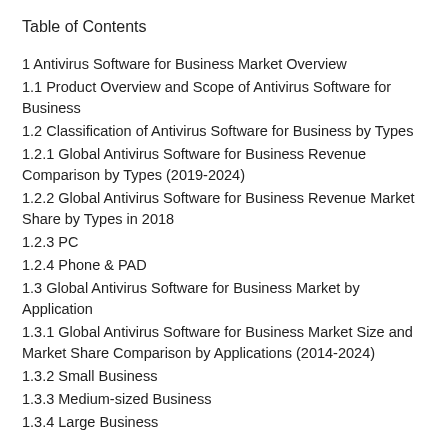Table of Contents
1 Antivirus Software for Business Market Overview
1.1 Product Overview and Scope of Antivirus Software for Business
1.2 Classification of Antivirus Software for Business by Types
1.2.1 Global Antivirus Software for Business Revenue Comparison by Types (2019-2024)
1.2.2 Global Antivirus Software for Business Revenue Market Share by Types in 2018
1.2.3 PC
1.2.4 Phone & PAD
1.3 Global Antivirus Software for Business Market by Application
1.3.1 Global Antivirus Software for Business Market Size and Market Share Comparison by Applications (2014-2024)
1.3.2 Small Business
1.3.3 Medium-sized Business
1.3.4 Large Business